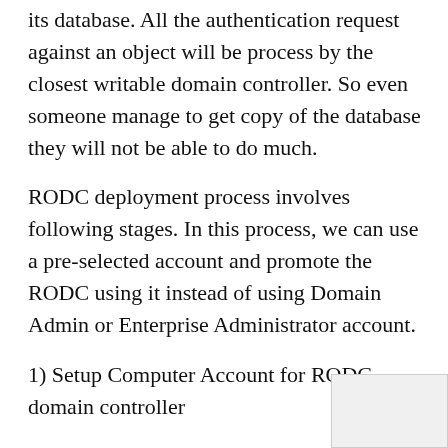its database. All the authentication request against an object will be process by the closest writable domain controller. So even someone manage to get copy of the database they will not be able to do much.
RODC deployment process involves following stages. In this process, we can use a pre-selected account and promote the RODC using it instead of using Domain Admin or Enterprise Administrator account.
1) Setup Computer Account for RODC domain controller
2) Attached that account to the RODC during